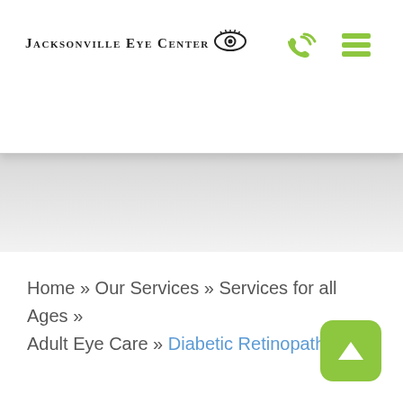[Figure (logo): Jacksonville Eye Center logo with eye icon]
[Figure (infographic): Green phone icon and green hamburger menu icon in header navigation]
[Figure (photo): Gray hero banner image area]
Home » Our Services » Services for all Ages » Adult Eye Care » Diabetic Retinopathy
[Figure (infographic): Green rounded square scroll-to-top button with upward arrow]